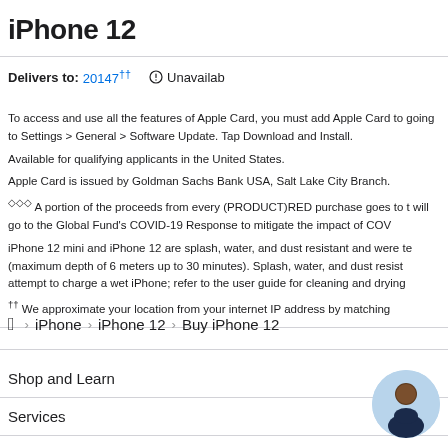iPhone 12
Delivers to: 20147†† ⊙ Unavailab
To access and use all the features of Apple Card, you must add Apple Card to going to Settings > General > Software Update. Tap Download and Install. Available for qualifying applicants in the United States. Apple Card is issued by Goldman Sachs Bank USA, Salt Lake City Branch. ◇◇◇ A portion of the proceeds from every (PRODUCT)RED purchase goes to t will go to the Global Fund's COVID-19 Response to mitigate the impact of COV iPhone 12 mini and iPhone 12 are splash, water, and dust resistant and were te (maximum depth of 6 meters up to 30 minutes). Splash, water, and dust resist attempt to charge a wet iPhone; refer to the user guide for cleaning and drying †† We approximate your location from your internet IP address by matching
🍎 > iPhone > iPhone 12 > Buy iPhone 12
Shop and Learn
Services
Account
[Figure (photo): Circular avatar photo of a man in a dark navy shirt against a light blue background]